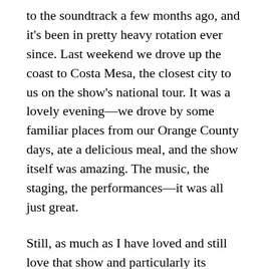to the soundtrack a few months ago, and it's been in pretty heavy rotation ever since. Last weekend we drove up the coast to Costa Mesa, the closest city to us on the show's national tour. It was a lovely evening—we drove by some familiar places from our Orange County days, ate a delicious meal, and the show itself was amazing. The music, the staging, the performances—it was all just great.
Still, as much as I have loved and still love that show and particularly its music, I couldn't help but have some misgivings about the story. If you're not familiar with the musical, at the beginning of the show we meet Evan Hansen, a socially awkward and isolated teen who desperately wishes he could have some friends. The title refers to an assignment he